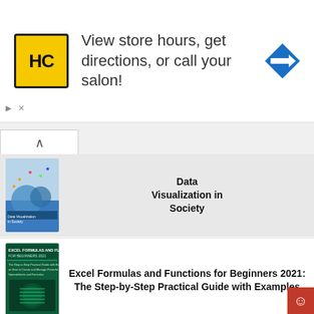[Figure (illustration): Advertisement banner: HC salon logo, text 'View store hours, get directions, or call your salon!', and a blue direction sign icon]
View store hours, get directions, or call your salon!
Data Visualization in Society
Excel Formulas and Functions for Beginners 2021: The Step-by-Step Practical Guide with Examples
Data Analysis with Excel: Tips and tricks to kick start your excel skills
Excel Formulas and Functions: The Step by Step Excel Guide